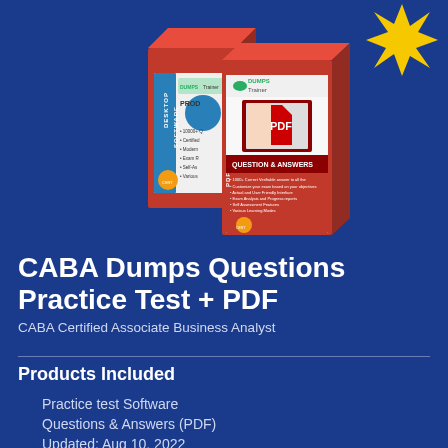[Figure (illustration): Two product boxes from DumpsTrainer: a Desktop Software box on the left and a PDF Question & Answers book on the right, displayed against a blue background. A yellow sunburst/starburst badge is in the top-right corner.]
CABA Dumps Questions Practice Test + PDF
CABA Certified Associate Business Analyst
Products Included
Practice test Software
Questions & Answers (PDF)
Updated: Aug 10, 2022